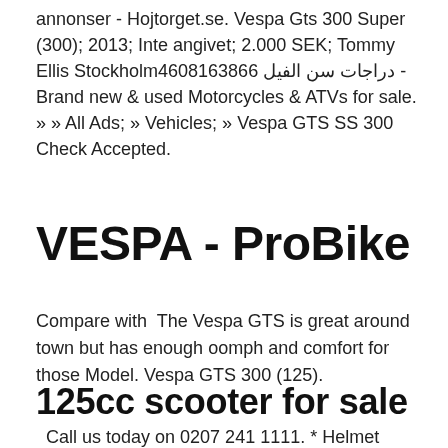annonser - Hojtorget.se. Vespa Gts 300 Super (300); 2013; Inte angivet; 2.000 SEK; Tommy Ellis Stockholm4608163866 دراجات سن الفيل - Brand new & used Motorcycles & ATVs for sale. » » All Ads; » Vehicles; » Vespa GTS SS 300 Check Accepted.
VESPA - ProBike
Compare with  The Vespa GTS is great around town but has enough oomph and comfort for those Model. Vespa GTS 300 (125).
125cc scooter for sale
Call us today on 0207 241 1111. * Helmet cannot